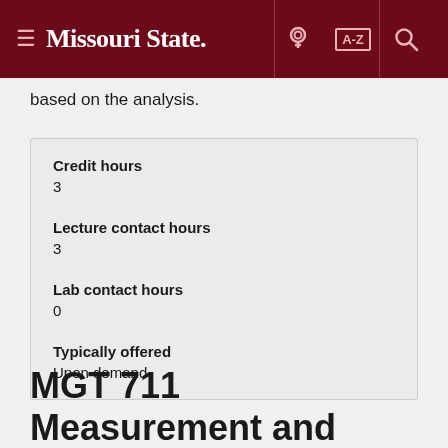Missouri State
based on the analysis.
| Credit hours | 3 |
| Lecture contact hours | 3 |
| Lab contact hours | 0 |
| Typically offered | Upon demand |
MGT 711 Measurement and